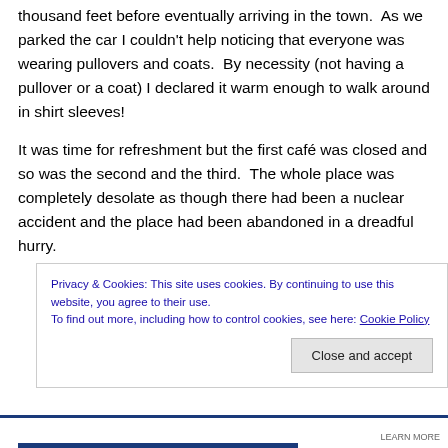thousand feet before eventually arriving in the town.  As we parked the car I couldn't help noticing that everyone was wearing pullovers and coats.  By necessity (not having a pullover or a coat) I declared it warm enough to walk around in shirt sleeves!
It was time for refreshment but the first café was closed and so was the second and the third.  The whole place was completely desolate as though there had been a nuclear accident and the place had been abandoned in a dreadful hurry.
Privacy & Cookies: This site uses cookies. By continuing to use this website, you agree to their use.
To find out more, including how to control cookies, see here: Cookie Policy
Close and accept